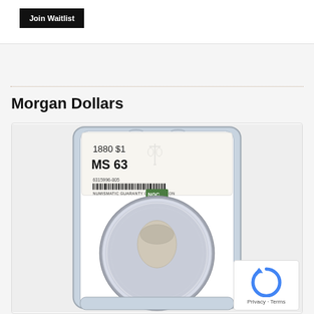Join Waitlist
Morgan Dollars
[Figure (photo): NGC-graded Morgan Dollar coin in a plastic slab holder. The slab label reads: 1880 $1, MS 63, serial number 6315996-005, Numismatic Guaranty Corporation logo (NGC).]
Privacy - Terms